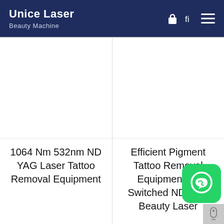Unice Laser Beauty Machine
[Figure (photo): Product image placeholder for 1064 Nm 532nm ND YAG Laser Tattoo Removal Equipment]
1064 Nm 532nm ND YAG Laser Tattoo Removal Equipment
[Figure (photo): Product image placeholder for Efficient Pigment Tattoo Removal Equipment Q-Switched ND YAG Beauty Laser]
Efficient Pigment Tattoo Removal Equipment Q-Switched ND YAG Beauty Laser
[Figure (logo): WhatsApp contact button icon (green rounded square with phone handset)]
[Figure (other): Scroll indicator button (grey square with scroll icon)]